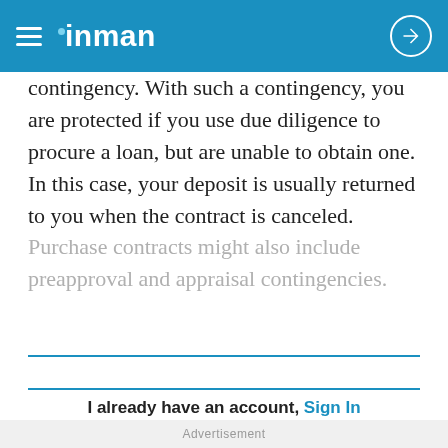inman
contingency. With such a contingency, you are protected if you use due diligence to procure a loan, but are unable to obtain one. In this case, your deposit is usually returned to you when the contract is canceled. Purchase contracts might also include preapproval and appraisal contingencies.
I already have an account,  Sign In
Learn more about  Inman Select
Advertisement